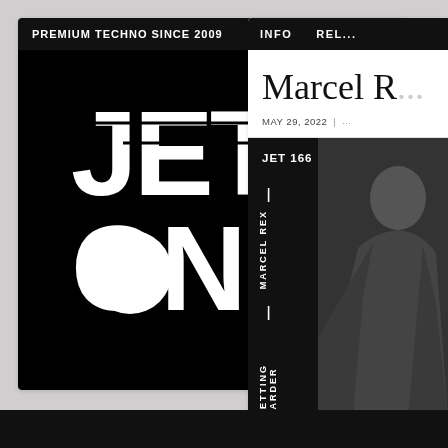PREMIUM TECHNO SINCE 2009
[Figure (logo): Jeton Records logo — large white bold lettering spelling JET ON with a white circle below ON, and 'records' in smaller text, on a black background]
INFO   RELE...
Marcel R...
MAY 29, 2022 | ...
[Figure (photo): Jeton Records release JET 166 — Marcel Rex — Getting Harder. Black background with vertical text and partial photo of a person on the right side.]